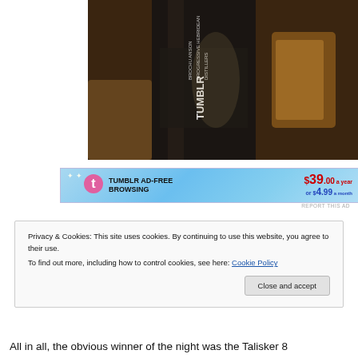[Figure (photo): Close-up photo of a dark bottle, appears to be a whisky bottle with white text on the label, partially visible. Background shows glasses and warm amber lighting.]
[Figure (infographic): Tumblr Ad-Free Browsing advertisement banner showing the Tumblr logo and pricing: $39 a year or $4.99 a month.]
REPORT THIS AD
Privacy & Cookies: This site uses cookies. By continuing to use this website, you agree to their use.
To find out more, including how to control cookies, see here: Cookie Policy
Close and accept
All in all, the obvious winner of the night was the Talisker 8